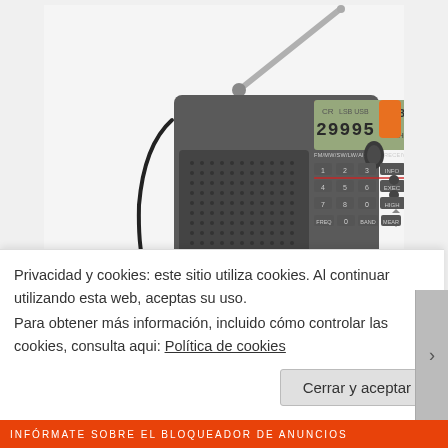[Figure (photo): A gray Radiwow R-108 portable FM/MW/SW/LW/AIR DSP receiver radio with an extended telescopic antenna, LCD display showing 29995 kHz and 8:30, orange button on the right side, numeric keypad, and 300 MEMORIES PRESET label at the bottom.]
Privacidad y cookies: este sitio utiliza cookies. Al continuar utilizando esta web, aceptas su uso.
Para obtener más información, incluido cómo controlar las cookies, consulta aqui: Política de cookies
Cerrar y aceptar